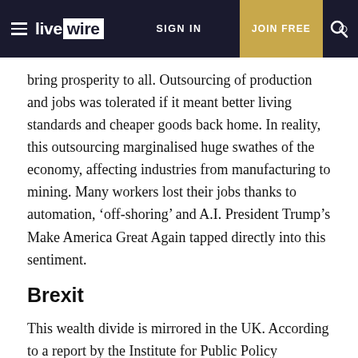livewire | SIGN IN | JOIN FREE
bring prosperity to all. Outsourcing of production and jobs was tolerated if it meant better living standards and cheaper goods back home. In reality, this outsourcing marginalised huge swathes of the economy, affecting industries from manufacturing to mining. Many workers lost their jobs thanks to automation, ‘off-shoring’ and A.I. President Trump’s Make America Great Again tapped directly into this sentiment.
Brexit
This wealth divide is mirrored in the UK. According to a report by the Institute for Public Policy Research, Britain is the fifth most unfair economy in Europe. One-fifth of the country lives below the poverty line,